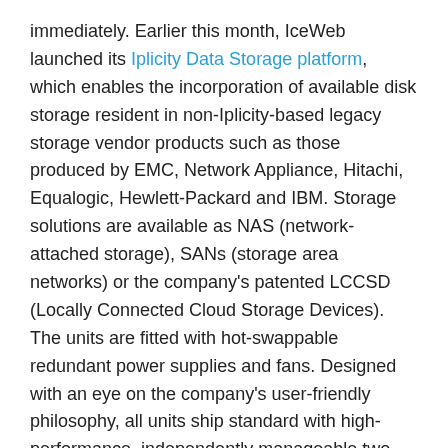immediately. Earlier this month, IceWeb launched its Iplicity Data Storage platform, which enables the incorporation of available disk storage resident in non-Iplicity-based legacy storage vendor products such as those produced by EMC, Network Appliance, Hitachi, Equalogic, Hewlett-Packard and IBM. Storage solutions are available as NAS (network-attached storage), SANs (storage area networks) or the company's patented LCCSD (Locally Connected Cloud Storage Devices). The units are fitted with hot-swappable redundant power supplies and fans. Designed with an eye on the company's user-friendly philosophy, all units ship standard with high-performance, independently manageable two-port RAID/HBA controllers and six 10/100/1,000M-bps Ethernet ports (which can be bound and aggregated). Additional optional connect [obscured] annel is availa [obscured] ions.